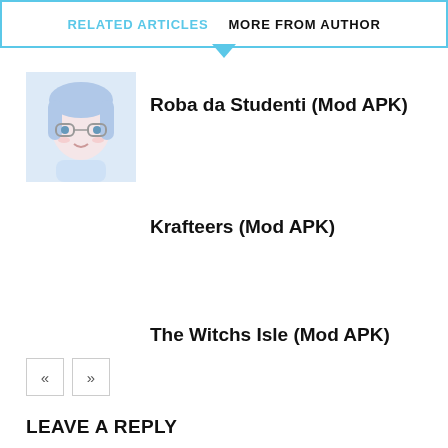RELATED ARTICLES  MORE FROM AUTHOR
Roba da Studenti (Mod APK)
[Figure (illustration): Anime-style illustration of a character with glasses and blue/pink tones]
Krafteers (Mod APK)
The Witchs Isle (Mod APK)
« »
LEAVE A REPLY